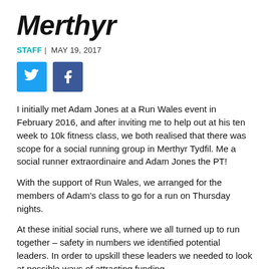Merthyr
STAFF | MAY 19, 2017
[Figure (other): Twitter and Facebook social sharing icon buttons]
I initially met Adam Jones at a Run Wales event in February 2016, and after inviting me to help out at his ten week to 10k fitness class, we both realised that there was scope for a social running group in Merthyr Tydfil.  Me a social runner extraordinaire and Adam Jones the PT!
With the support of Run Wales, we arranged for the members of Adam's class to go for a run on Thursday nights.
At these initial social runs, where we all turned up to run together – safety in numbers we identified potential leaders. In order to upskill these leaders we needed to look at possible ways of attracting funding.
Again, with the support of Run Wales and the assistance of